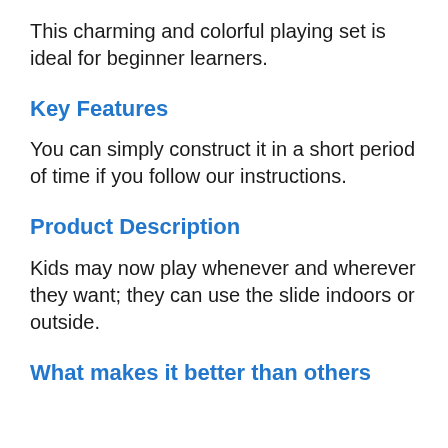This charming and colorful playing set is ideal for beginner learners.
Key Features
You can simply construct it in a short period of time if you follow our instructions.
Product Description
Kids may now play whenever and wherever they want; they can use the slide indoors or outside.
What makes it better than others